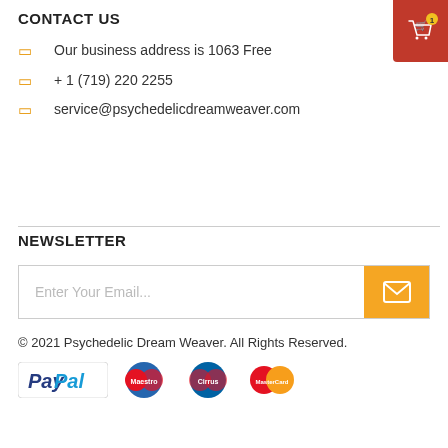CONTACT US
Our business address is 1063 Free
+ 1 (719) 220 2255
service@psychedelicdreamweaver.com
NEWSLETTER
Enter Your Email...
© 2021 Psychedelic Dream Weaver. All Rights Reserved.
[Figure (logo): PayPal, Maestro, Cirrus, MasterCard payment logos]